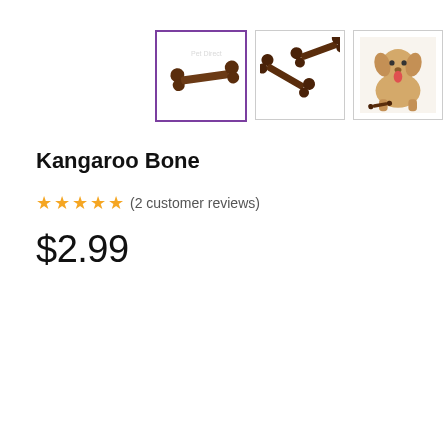[Figure (photo): Three product thumbnail images of Kangaroo Bone dog treat: first (selected with purple border) shows a single bone on white background with watermark, second shows two bones crossed, third shows a yellow Labrador dog sitting with a bone.]
Kangaroo Bone
★★★★★ (2 customer reviews)
$2.99
| Buy 5 or more & save 5% | $2.84 |